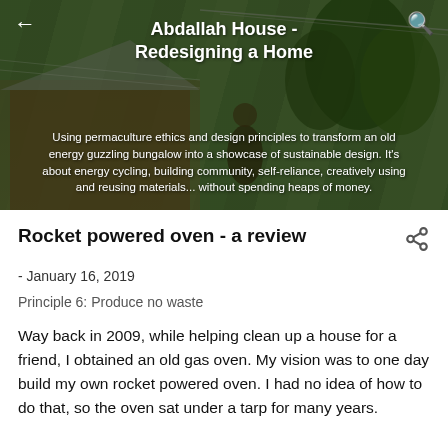[Figure (photo): Hero image of a house with lush green trees, overlaid with dark tint. Shows a bungalow with vegetation around it.]
Abdallah House - Redesigning a Home
Using permaculture ethics and design principles to transform an old energy guzzling bungalow into a showcase of sustainable design. It's about energy cycling, building community, self-reliance, creatively using and reusing materials... without spending heaps of money.
Rocket powered oven - a review
- January 16, 2019
Principle 6: Produce no waste
Way back in 2009, while helping clean up a house for a friend, I obtained an old gas oven. My vision was to one day build my own rocket powered oven. I had no idea of how to do that, so the oven sat under a tarp for many years.